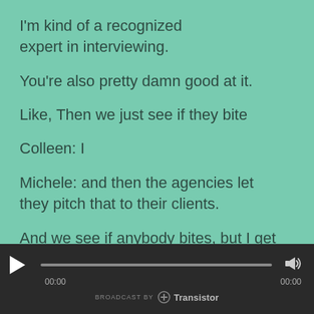I'm kind of a recognized expert in interviewing.
You're also pretty damn good at it.
Like, Then we just see if they bite
Colleen: I
Michele: and then the agencies let they pitch that to their clients.
And we see if anybody bites, but I get
[Figure (other): Audio player bar with play button, progress bar, volume icon, timestamps 00:00 and 00:00, and Transistor broadcast branding at bottom]